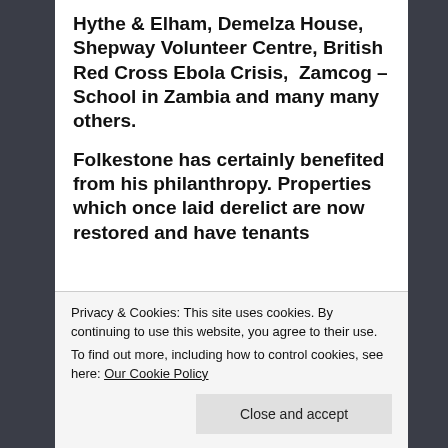Hythe & Elham, Demelza House, Shepway Volunteer Centre, British Red Cross Ebola Crisis,  Zamcog – School in Zambia and many many others.

Folkestone has certainly benefited from his philanthropy. Properties which once laid derelict are now restored and have tenants
Privacy & Cookies: This site uses cookies. By continuing to use this website, you agree to their use.
To find out more, including how to control cookies, see here: Our Cookie Policy